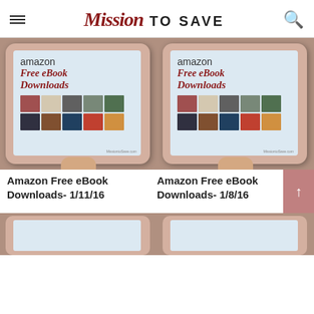Mission TO SAVE
[Figure (photo): Tablet displaying 'amazon Free eBook Downloads' with book cover thumbnails, held in hand. Left image of two identical side-by-side images.]
[Figure (photo): Tablet displaying 'amazon Free eBook Downloads' with book cover thumbnails, held in hand. Right image.]
Amazon Free eBook Downloads- 1/11/16
Amazon Free eBook Downloads- 1/8/16
[Figure (photo): Partial view of tablet at bottom left, cropped.]
[Figure (photo): Partial view of tablet at bottom right, cropped.]